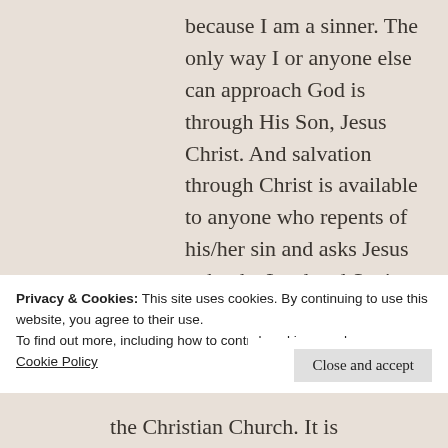because I am a sinner. The only way I or anyone else can approach God is through His Son, Jesus Christ. And salvation through Christ is available to anyone who repents of his/her sin and asks Jesus to be the Lord and Savior of his/her life. Repentance means admitting sin is wrong and turning away
Privacy & Cookies: This site uses cookies. By continuing to use this website, you agree to their use.
To find out more, including how to control cookies, see here:
Cookie Policy
Close and accept
the Christian Church. It is